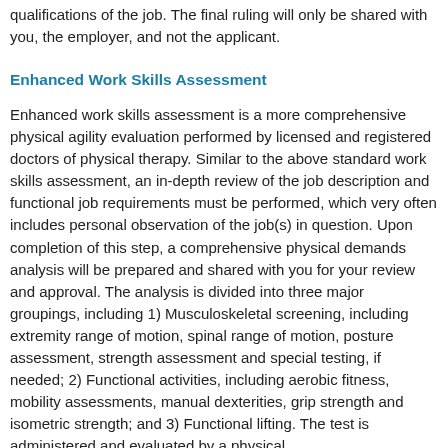qualifications of the job. The final ruling will only be shared with you, the employer, and not the applicant.
Enhanced Work Skills Assessment
Enhanced work skills assessment is a more comprehensive physical agility evaluation performed by licensed and registered doctors of physical therapy. Similar to the above standard work skills assessment, an in-depth review of the job description and functional job requirements must be performed, which very often includes personal observation of the job(s) in question. Upon completion of this step, a comprehensive physical demands analysis will be prepared and shared with you for your review and approval. The analysis is divided into three major groupings, including 1) Musculoskeletal screening, including extremity range of motion, spinal range of motion, posture assessment, strength assessment and special testing, if needed; 2) Functional activities, including aerobic fitness, mobility assessments, manual dexterities, grip strength and isometric strength; and 3) Functional lifting. The test is administered and evaluated by a physical